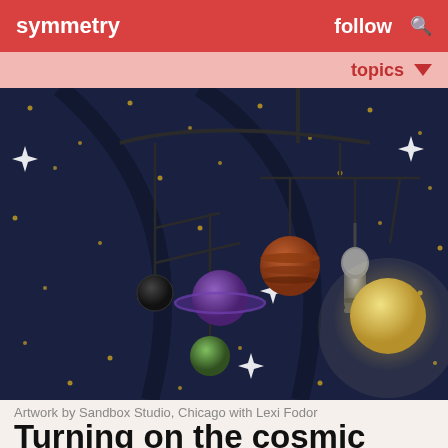symmetry   follow   🔍
topics ▼
[Figure (illustration): A dark space-themed illustration showing a cosmic mobile hanging from above, with various planets (a red-brown striped planet, a purple ringed planet, a small black planet, a green planet, a large glowing yellow planet) and a microphone hanging from curved black arms, against a deep navy starry background with sparkle stars and small golden dots representing distant stars.]
Artwork by Sandbox Studio, Chicago with Lexi Fodor
Turning on the cosmic microphone